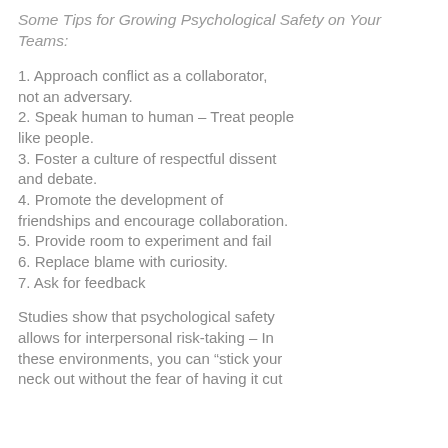Some Tips for Growing Psychological Safety on Your Teams:
1. Approach conflict as a collaborator, not an adversary.
2. Speak human to human – Treat people like people.
3. Foster a culture of respectful dissent and debate.
4. Promote the development of friendships and encourage collaboration.
5. Provide room to experiment and fail
6. Replace blame with curiosity.
7. Ask for feedback
Studies show that psychological safety allows for interpersonal risk-taking – In these environments, you can “stick your neck out without the fear of having it cut